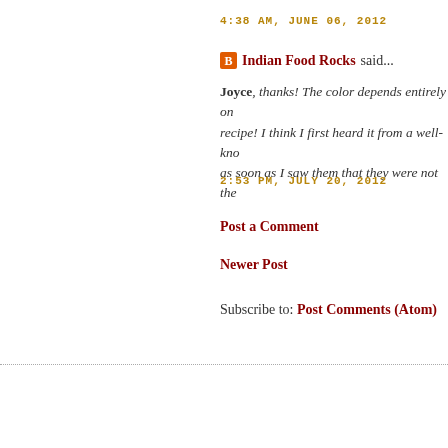4:38 AM, JUNE 06, 2012
Indian Food Rocks said...
Joyce, thanks! The color depends entirely on recipe! I think I first heard it from a well-kno as soon as I saw them that they were not the
2:53 PM, JULY 20, 2012
Post a Comment
Newer Post
Subscribe to: Post Comments (Atom)